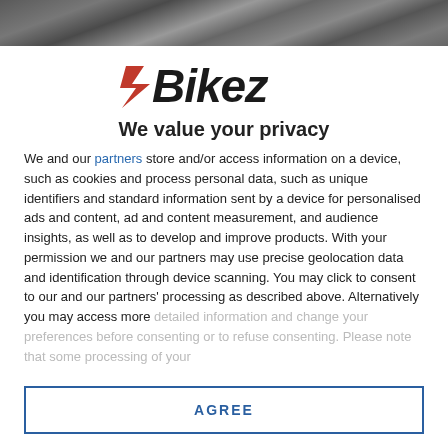[Figure (photo): Dark photo strip at top of page showing motorcycle or vehicle scene]
[Figure (logo): Bikez logo with red arrow accent and bold italic text]
We value your privacy
We and our partners store and/or access information on a device, such as cookies and process personal data, such as unique identifiers and standard information sent by a device for personalised ads and content, ad and content measurement, and audience insights, as well as to develop and improve products. With your permission we and our partners may use precise geolocation data and identification through device scanning. You may click to consent to our and our partners' processing as described above. Alternatively you may access more detailed information and change your preferences before consenting or to refuse consenting. Please note that some processing of your
AGREE
MORE OPTIONS